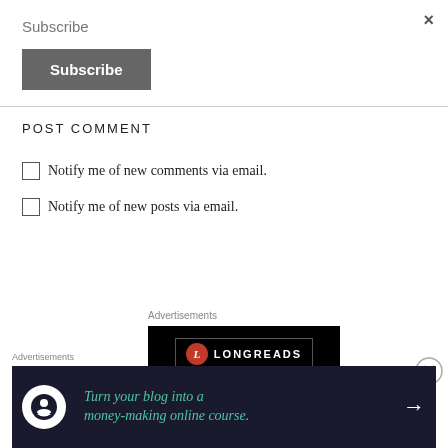×
Subscribe
Subscribe
POST COMMENT
Notify me of new comments via email.
Notify me of new posts via email.
Advertisements
[Figure (logo): Longreads logo on black background with red circle L icon]
Advertisements
[Figure (infographic): Dark banner ad: Turn your blog into a money-making online course. with arrow]